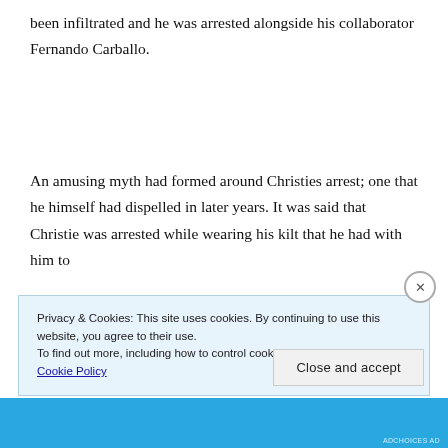been infiltrated and he was arrested alongside his collaborator Fernando Carballo.
An amusing myth had formed around Christies arrest; one that he himself had dispelled in later years. It was said that Christie was arrested while wearing his kilt that he had with him to
Privacy & Cookies: This site uses cookies. By continuing to use this website, you agree to their use.
To find out more, including how to control cookies, see here: Cookie Policy
Close and accept